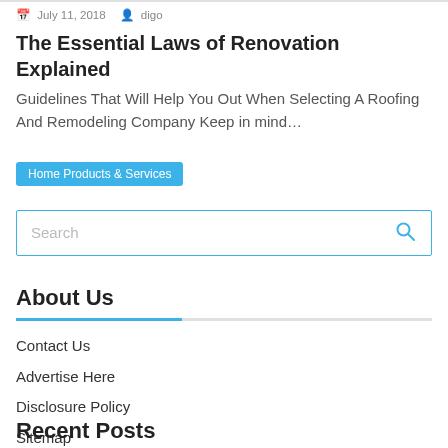July 11, 2018  digo
The Essential Laws of Renovation Explained
Guidelines That Will Help You Out When Selecting A Roofing And Remodeling Company Keep in mind…
Home Products & Services
[Figure (other): Search input box with placeholder text 'Search' and a blue magnifying glass icon]
About Us
Contact Us
Advertise Here
Disclosure Policy
Sitemap
Recent Posts